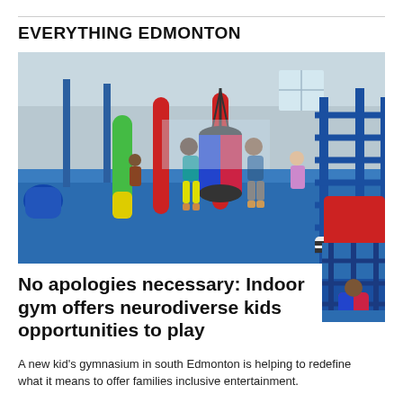EVERYTHING EDMONTON
[Figure (photo): Indoor gymnasium with blue foam mats, colorful padded poles (red, green, yellow), a hanging sensory swing holding a child, rope climbing structure in blue on the right, children playing throughout the space with a large warehouse-style ceiling.]
No apologies necessary: Indoor gym offers neurodiverse kids opportunities to play
A new kid's gymnasium in south Edmonton is helping to redefine what it means to offer families inclusive entertainment.